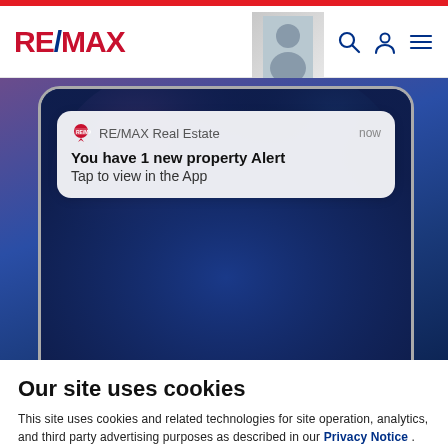RE/MAX — navigation header with logo, search icon, user icon, menu icon
[Figure (screenshot): Smartphone screen showing a RE/MAX Real Estate push notification: 'You have 1 new property Alert – Tap to view in the App', displayed over a blurred purple-blue gradient background]
Our site uses cookies
This site uses cookies and related technologies for site operation, analytics, and third party advertising purposes as described in our Privacy Notice .
ACCEPT